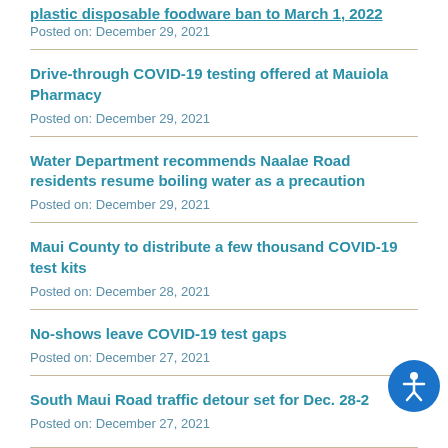plastic disposable foodware ban to March 1, 2022
Posted on: December 29, 2021
Drive-through COVID-19 testing offered at Mauiola Pharmacy
Posted on: December 29, 2021
Water Department recommends Naalae Road residents resume boiling water as a precaution
Posted on: December 29, 2021
Maui County to distribute a few thousand COVID-19 test kits
Posted on: December 28, 2021
No-shows leave COVID-19 test gaps
Posted on: December 27, 2021
South Maui Road traffic detour set for Dec. 28-2
Posted on: December 27, 2021